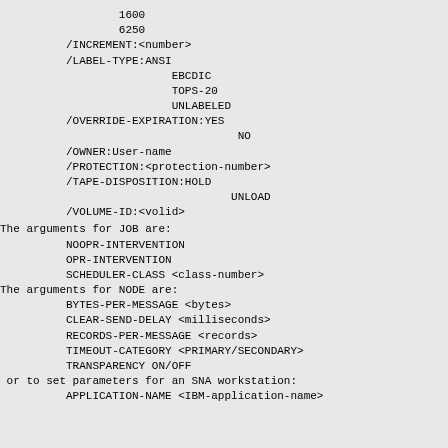1600
6250
/INCREMENT:<number>
/LABEL-TYPE:ANSI
                EBCDIC
                TOPS-20
                UNLABELED
/OVERRIDE-EXPIRATION:YES
                          NO
/OWNER:User-name
/PROTECTION:<protection-number>
/TAPE-DISPOSITION:HOLD
                         UNLOAD
/VOLUME-ID:<volid>
The arguments for JOB are:
NOOPR-INTERVENTION
OPR-INTERVENTION
SCHEDULER-CLASS <class-number>
The arguments for NODE are:
BYTES-PER-MESSAGE <bytes>
CLEAR-SEND-DELAY <milliseconds>
RECORDS-PER-MESSAGE <records>
TIMEOUT-CATEGORY <PRIMARY/SECONDARY>
TRANSPARENCY ON/OFF
or to set parameters for an SNA workstation:
APPLICATION-NAME <IBM-application-name>